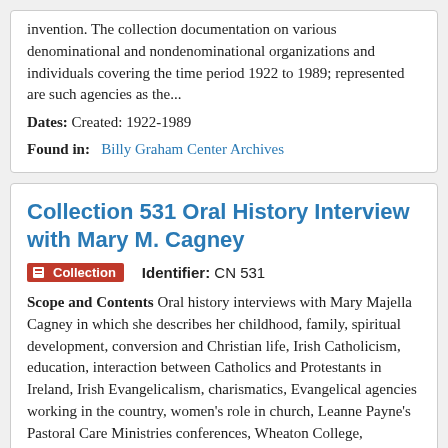invention. The collection documentation on various denominational and nondenominational organizations and individuals covering the time period 1922 to 1989; represented are such agencies as the...
Dates: Created: 1922-1989
Found in: Billy Graham Center Archives
Collection 531 Oral History Interview with Mary M. Cagney
Collection   Identifier: CN 531
Scope and Contents Oral history interviews with Mary Majella Cagney in which she describes her childhood, family, spiritual development, conversion and Christian life, Irish Catholicism, education, interaction between Catholics and Protestants in Ireland, Irish Evangelicalism, charismatics, Evangelical agencies working in the country, women's role in church, Leanne Payne's Pastoral Care Ministries conferences, Wheaton College, Protestant Schooling, among other topics.